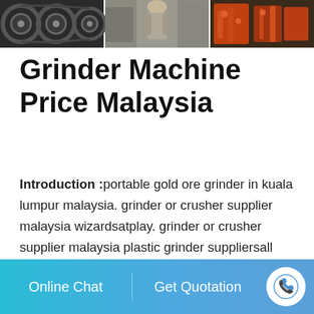[Figure (photo): Banner image showing industrial grinder/crusher machinery parts and a worker in a factory setting]
Grinder Machine Price Malaysia
Introduction :portable gold ore grinder in kuala lumpur malaysia. grinder or crusher supplier malaysia wizardsatplay. grinder or crusher supplier malaysia plastic grinder suppliersall quality plastic grinder suppliers grinder or crusher supplier malaysia 9 total 10 720 votes 1440 more info Herb grinder priceharga in Malaysia lelong Lelong.my. 800g Electric Bean Food Coffee Spice Herb Grinder Grinding Machine
Online Chat   Get Quotation